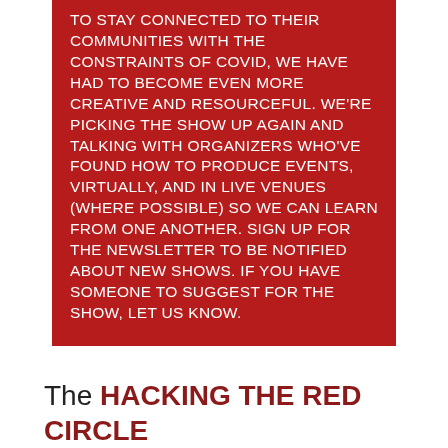TO STAY CONNECTED TO THEIR COMMUNITIES WITH THE CONSTRAINTS OF COVID, WE HAVE HAD TO BECOME EVEN MORE CREATIVE AND RESOURCEFUL. WE'RE PICKING THE SHOW UP AGAIN AND TALKING WITH ORGANIZERS WHO'VE FOUND HOW TO PRODUCE EVENTS, VIRTUALLY, AND IN LIVE VENUES (WHERE POSSIBLE) SO WE CAN LEARN FROM ONE ANOTHER. SIGN UP FOR THE NEWSLETTER TO BE NOTIFIED ABOUT NEW SHOWS. IF YOU HAVE SOMEONE TO SUGGEST FOR THE SHOW, LET US KNOW.
The HACKING THE RED CIRCLE Podcast is designed to illustrate what it takes to organize, produce, promote and create a